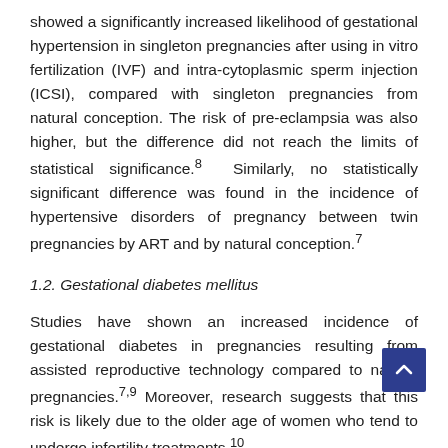showed a significantly increased likelihood of gestational hypertension in singleton pregnancies after using in vitro fertilization (IVF) and intra-cytoplasmic sperm injection (ICSI), compared with singleton pregnancies from natural conception. The risk of pre-eclampsia was also higher, but the difference did not reach the limits of statistical significance.8 Similarly, no statistically significant difference was found in the incidence of hypertensive disorders of pregnancy between twin pregnancies by ART and by natural conception.7
1.2. Gestational diabetes mellitus
Studies have shown an increased incidence of gestational diabetes in pregnancies resulting from assisted reproductive technology compared to natural pregnancies.7,9 Moreover, research suggests that this risk is likely due to the older age of women who tend to undergo infertility treatments.10